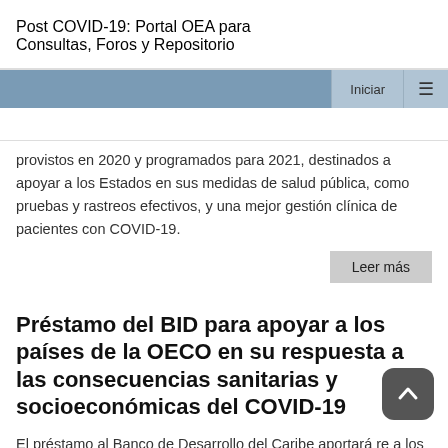Post COVID-19: Portal OEA para Consultas, Foros y Repositorio
provistos en 2020 y programados para 2021, destinados a apoyar a los Estados en sus medidas de salud pública, como pruebas y rastreos efectivos, y una mejor gestión clínica de pacientes con COVID-19.
Leer más
Préstamo del BID para apoyar a los países de la OECO en su respuesta a las consecuencias sanitarias y socioeconómicas del COVID-19
El préstamo al Banco de Desarrollo del Caribe aportará re a los miembros de la OECO, compuesta por Antigua y Ba Dominica, Granada, Saint Kitts y Nevis, Santa Lucía, y San Vicente y las Granadinas.